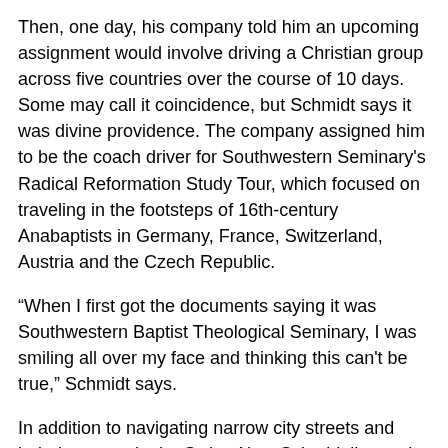Then, one day, his company told him an upcoming assignment would involve driving a Christian group across five countries over the course of 10 days. Some may call it coincidence, but Schmidt says it was divine providence. The company assigned him to be the coach driver for Southwestern Seminary's Radical Reformation Study Tour, which focused on traveling in the footsteps of 16th-century Anabaptists in Germany, France, Switzerland, Austria and the Czech Republic.
“When I first got the documents saying it was Southwestern Baptist Theological Seminary, I was smiling all over my face and thinking this can't be true,” Schmidt says.
In addition to navigating narrow city streets and hairpin curves in the Swiss Alps, Schmidt listened in on the lectures about the committed believers who lived in the region and held to biblical principles even at the cost of their lives. Schmidt also joined the group to see the prison cells where Anabaptists were sequestered, the barns and caves where they hid to worship, and the riverbanks where they were drowned for their faith.